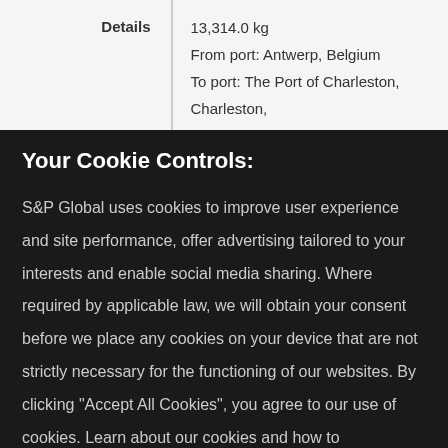| Details |  |
| --- | --- |
| Details | 13,314.0 kg
From port: Antwerp, Belgium
To port: The Port of Charleston, Charleston, |
Your Cookie Controls:
S&P Global uses cookies to improve user experience and site performance, offer advertising tailored to your interests and enable social media sharing. Where required by applicable law, we will obtain your consent before we place any cookies on your device that are not strictly necessary for the functioning of our websites. By clicking "Accept All Cookies", you agree to our use of cookies. Learn about our cookies and how to modify your preferences in our Cookie Notice.